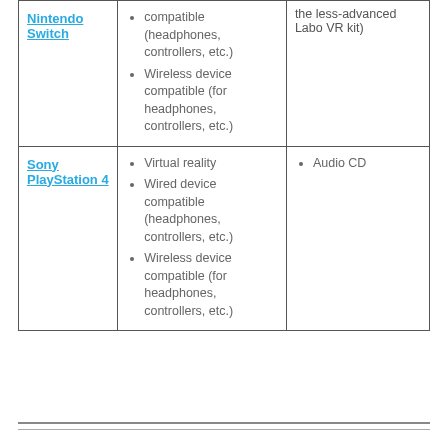| Nintendo Switch | compatible (headphones, controllers, etc.)
Wireless device compatible (for headphones, controllers, etc.) | the less-advanced Labo VR kit) |
| Sony PlayStation 4 | Virtual reality
Wired device compatible (headphones, controllers, etc.)
Wireless device compatible (for headphones, controllers, etc.) | Audio CD |